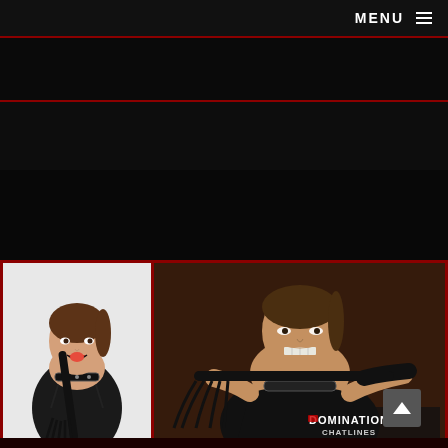MENU ☰
[Figure (photo): Website screenshot showing a dark-themed domination chatline page with navigation bar at top containing MENU text and hamburger icon, dark banner sections with red border lines, and two photos of women holding whips/floggers. Left photo shows woman on white background with black choker and whip. Right photo shows woman on brown background with spiked collar and flogger. 'DOMINATION CHATLINES' logo appears at bottom right of the right photo. A scroll-up button arrow is visible at bottom right.]